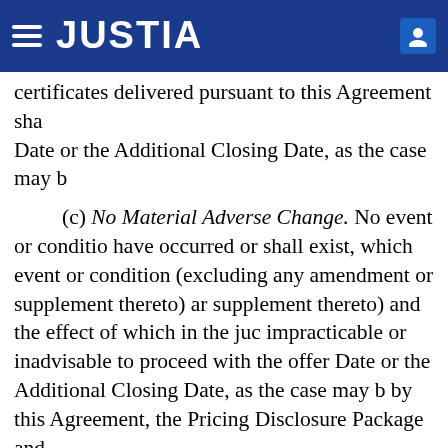JUSTIA
certificates delivered pursuant to this Agreement shall Date or the Additional Closing Date, as the case may b
(c) No Material Adverse Change. No event or condition have occurred or shall exist, which event or condition (excluding any amendment or supplement thereto) ar supplement thereto) and the effect of which in the juc impracticable or inadvisable to proceed with the offer Date or the Additional Closing Date, as the case may b by this Agreement, the Pricing Disclosure Package and
(d) Officer's Certificate. The Representatives shall ha Additional Closing Date, as the case may be, (x) a certi accounting officer of the Company and one additionally satisfactory to the Representatives (i) confirming that Registration Statement, the Pricing Disclosure Packag such officers, the representations of the Company set correct, (ii) confirming that the other representations